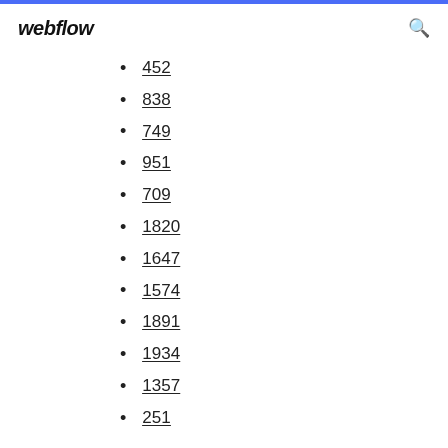webflow
452
838
749
951
709
1820
1647
1574
1891
1934
1357
251